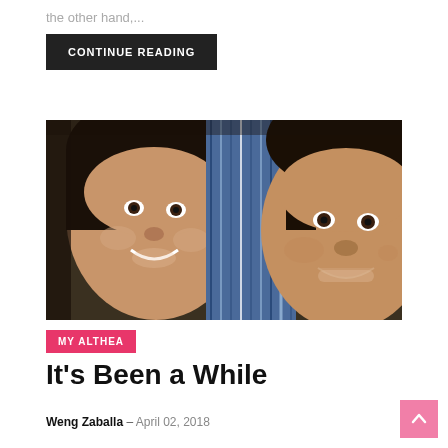the other hand,...
CONTINUE READING
[Figure (photo): A selfie photo of a young girl and a woman smiling, lying down with a blue striped pillow/blanket between them]
MY ALTHEA
It's Been a While
Weng Zaballa – April 02, 2018